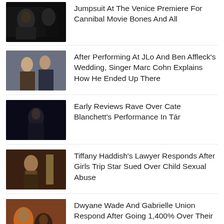[Figure (photo): Dark scene movie still]
Jumpsuit At The Venice Premiere For Cannibal Movie Bones And All
[Figure (photo): Couple embracing, romantic scene]
After Performing At JLo And Ben Affleck's Wedding, Singer Marc Cohn Explains How He Ended Up There
[Figure (photo): Woman in dark scene, movie still]
Early Reviews Rave Over Cate Blanchett's Performance In Tár
[Figure (photo): Tiffany Haddish in dramatic scene]
Tiffany Haddish's Lawyer Responds After Girls Trip Star Sued Over Child Sexual Abuse
[Figure (photo): Dwyane Wade and Gabrielle Union at event]
Dwyane Wade And Gabrielle Union Respond After Going 1,400% Over Their Water Allotment During Drought
[Figure (photo): Shia LaBeouf dark movie still]
Shia LaBeouf Lands His Next Movie Role As He